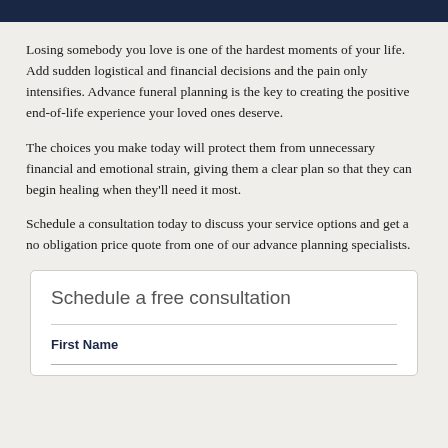Losing somebody you love is one of the hardest moments of your life. Add sudden logistical and financial decisions and the pain only intensifies. Advance funeral planning is the key to creating the positive end-of-life experience your loved ones deserve.
The choices you make today will protect them from unnecessary financial and emotional strain, giving them a clear plan so that they can begin healing when they'll need it most.
Schedule a consultation today to discuss your service options and get a no obligation price quote from one of our advance planning specialists.
Schedule a free consultation
First Name